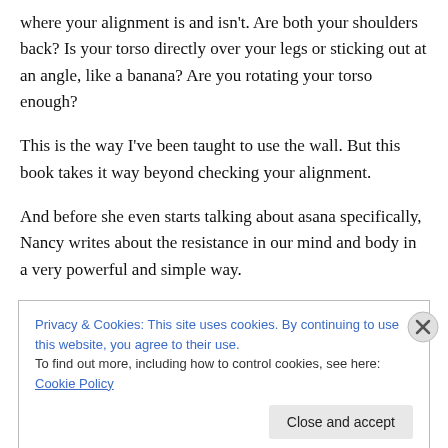where your alignment is and isn't. Are both your shoulders back? Is your torso directly over your legs or sticking out at an angle, like a banana? Are you rotating your torso enough?
This is the way I've been taught to use the wall. But this book takes it way beyond checking your alignment.
And before she even starts talking about asana specifically, Nancy writes about the resistance in our mind and body in a very powerful and simple way.
Privacy & Cookies: This site uses cookies. By continuing to use this website, you agree to their use.
To find out more, including how to control cookies, see here: Cookie Policy